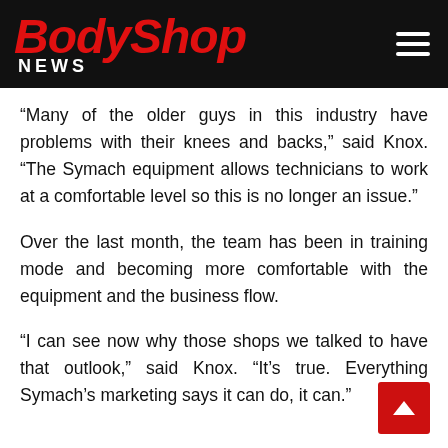BodyShop NEWS
“Many of the older guys in this industry have problems with their knees and backs,” said Knox. “The Symach equipment allows technicians to work at a comfortable level so this is no longer an issue.”
Over the last month, the team has been in training mode and becoming more comfortable with the equipment and the business flow.
“I can see now why those shops we talked to have that outlook,” said Knox. “It’s true. Everything Symach’s marketing says it can do, it can.”